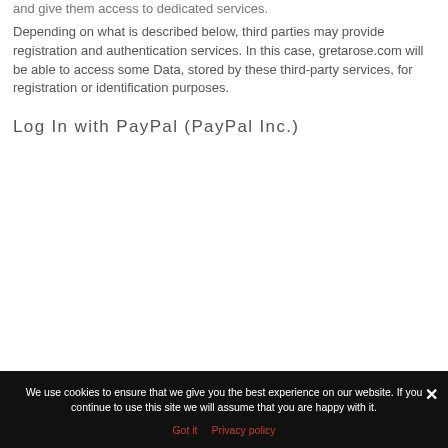and give them access to dedicated services.
Depending on what is described below, third parties may provide registration and authentication services. In this case, gretarose.com will be able to access some Data, stored by these third-party services, for registration or identification purposes.
Log In with PayPal (PayPal Inc.)
We use cookies to ensure that we give you the best experience on our website. If you continue to use this site we will assume that you are happy with it.
Got it   Privacy policy